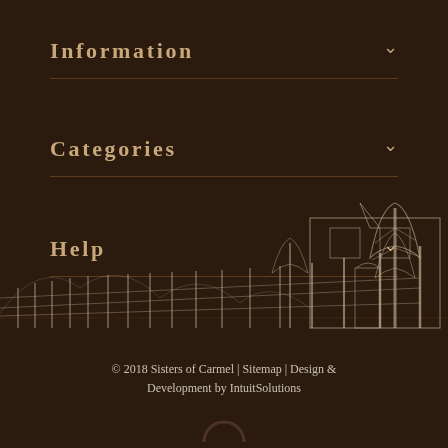Information
Categories
Help
[Figure (illustration): Line drawing illustration of a monastery or convent building with trees, fence columns, and architectural details in white on dark brown background]
© 2018 Sisters of Carmel | Sitemap | Design & Development by IntuitSolutions